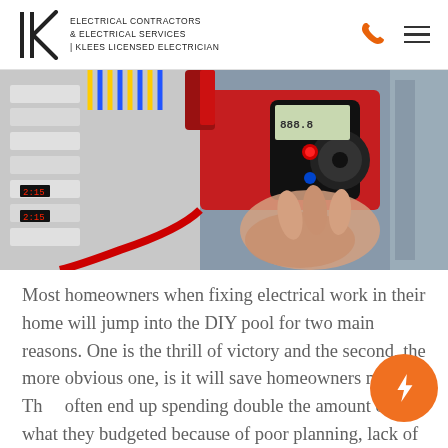ELECTRICAL CONTRACTORS & ELECTRICAL SERVICES | KLEES LICENSED ELECTRICIAN
[Figure (photo): Close-up photo of a hand using an AC/DC clamp meter on electrical panel wiring with colorful cables]
Most homeowners when fixing electrical work in their home will jump into the DIY pool for two main reasons. One is the thrill of victory and the second, the more obvious one, is it will save homeowners money. They often end up spending double the amount of what they budgeted because of poor planning, lack of knowledge, and costly mistakes. Below are some benefits of hiring